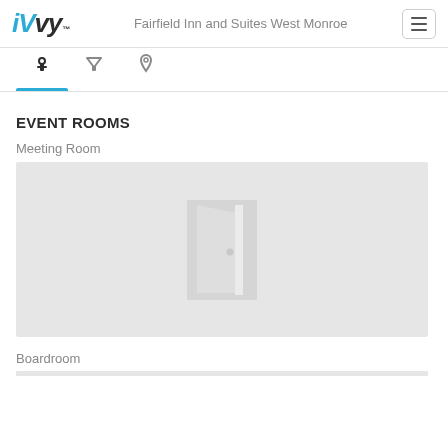iVvy — Fairfield Inn and Suites West Monroe
EVENT ROOMS
Meeting Room
[Figure (illustration): Gray placeholder image box with a door icon in the center, representing a meeting room with no photo available.]
Boardroom